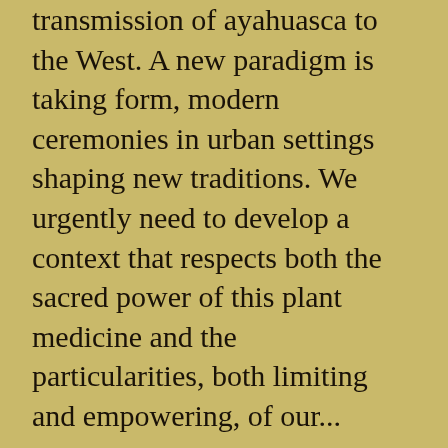transmission of ayahuasca to the West. A new paradigm is taking form, modern ceremonies in urban settings shaping new traditions. We urgently need to develop a context that respects both the sacred power of this plant medicine and the particularities, both limiting and empowering, of our...
Read More
Book a Session
If you'd like to take your integration process deeper, get in touch. I offer intelligent, intuitive support and skills to strengthen and inspire your